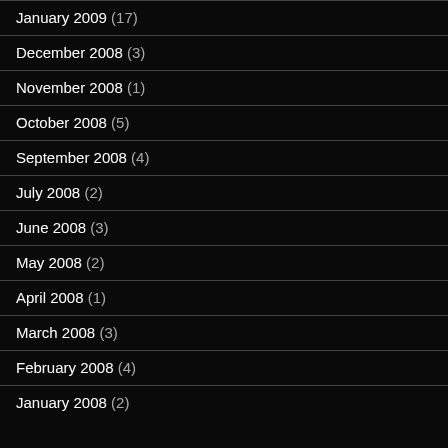January 2009 (17)
December 2008 (3)
November 2008 (1)
October 2008 (5)
September 2008 (4)
July 2008 (2)
June 2008 (3)
May 2008 (2)
April 2008 (1)
March 2008 (3)
February 2008 (4)
January 2008 (2)